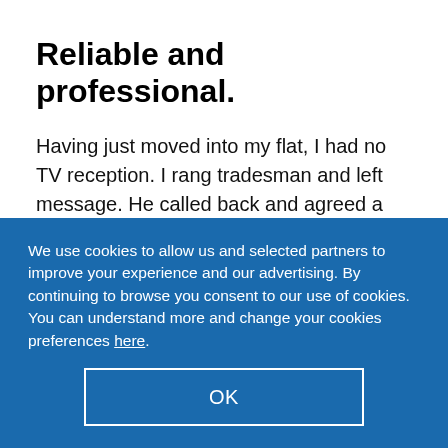Reliable and professional.
Having just moved into my flat, I had no TV reception. I rang tradesman and left message. He called back and agreed a site visit the next working day. He arrived on time and resolved the issue quickly and explained exactly what he had done. His cost was reasonable and I was
We use cookies to allow us and selected partners to improve your experience and our advertising. By continuing to browse you consent to our use of cookies. You can understand more and change your cookies preferences here.
OK